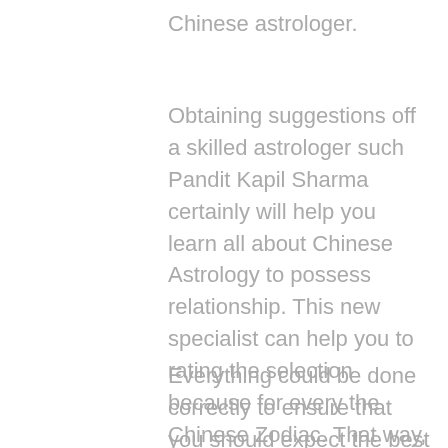Chinese astrologer.
Obtaining suggestions off a skilled astrologer such Pandit Kapil Sharma certainly will help you learn all about Chinese Astrology to possess relationship. This new specialist can help you to rating the selection because for every the Chinese Zodiac. That way, you'll know about one which means you won't need to worry about something.
Everything could be done correctly to ensure that you should expect the best selection. So be sure that you focus on